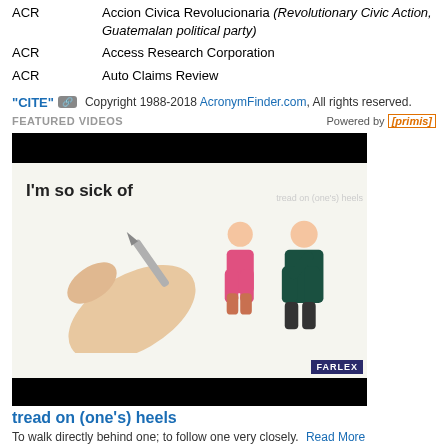ACR   Accion Civica Revolucionaria (Revolutionary Civic Action, Guatemalan political party)
ACR   Access Research Corporation
ACR   Auto Claims Review
"CITE" [link icon] Copyright 1988-2018 AcronymFinder.com, All rights reserved.
FEATURED VIDEOS   Powered by [primis]
[Figure (screenshot): Embedded video player showing 'tread on (one's) heels' idiom video with black top and bottom bars, a whiteboard animation scene with text 'I'm so sick of' and illustrated characters of a woman in pink skirt and a man in suit, with Farlex logo badge in corner.]
tread on (one's) heels
To walk directly behind one; to follow one very closely.  Read More
Advertisement. Bad banner? Please let us know Remove Ads
[navigation menu icon]